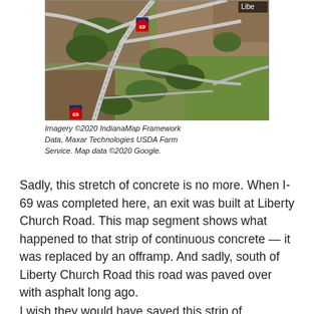[Figure (map): Satellite aerial map showing Interstate 69 interchange at Liberty Church Road area in Indiana. Roads and highway ramps visible crossing agricultural land. Two I-69 interstate shield markers visible. 'Libe' text label visible in upper right corner.]
Imagery ©2020 IndianaMap Framework Data, Maxar Technologies USDA Farm Service. Map data ©2020 Google.
Sadly, this stretch of concrete is no more. When I-69 was completed here, an exit was built at Liberty Church Road. This map segment shows what happened to that strip of continuous concrete — it was replaced by an offramp. And sadly, south of Liberty Church Road this road was paved over with asphalt long ago.
I wish they would have saved this strip of